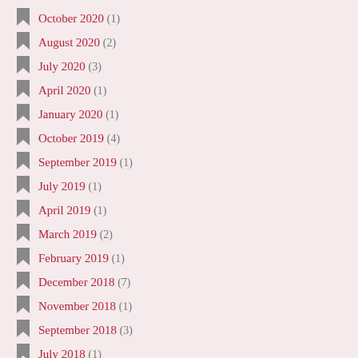October 2020 (1)
August 2020 (2)
July 2020 (3)
April 2020 (1)
January 2020 (1)
October 2019 (4)
September 2019 (1)
July 2019 (1)
April 2019 (1)
March 2019 (2)
February 2019 (1)
December 2018 (7)
November 2018 (1)
September 2018 (3)
July 2018 (1)
April 2018 (1)
March 2018 (2)
January 2018 (1)